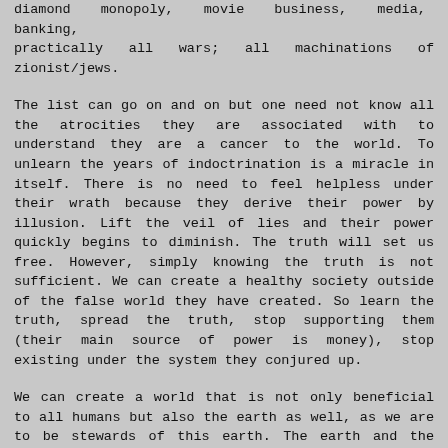diamond monopoly, movie business, media, banking, practically all wars; all machinations of zionist/jews.
The list can go on and on but one need not know all the atrocities they are associated with to understand they are a cancer to the world. To unlearn the years of indoctrination is a miracle in itself. There is no need to feel helpless under their wrath because they derive their power by illusion. Lift the veil of lies and their power quickly begins to diminish. The truth will set us free. However, simply knowing the truth is not sufficient. We can create a healthy society outside of the false world they have created. So learn the truth, spread the truth, stop supporting them (their main source of power is money), stop existing under the system they conjured up.
We can create a world that is not only beneficial to all humans but also the earth as well, as we are to be stewards of this earth. The earth and the world are completely two different things. The earth is beautiful and perfect and was given as a gift from our Creator. The world is the grotesque system rulers of humanity have enforced upon all of us, attempting to shackle us to their every